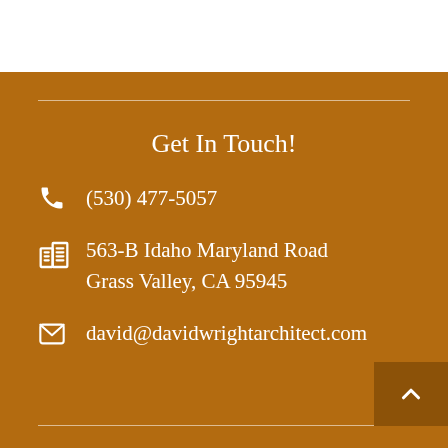Get In Touch!
(530) 477-5057
563-B Idaho Maryland Road
Grass Valley, CA 95945
david@davidwrightarchitect.com